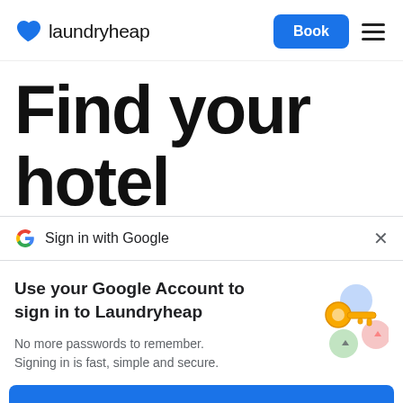laundryheap — Book
Find your hotel
Sign in with Google
Use your Google Account to sign in to Laundryheap

No more passwords to remember. Signing in is fast, simple and secure.
Continue